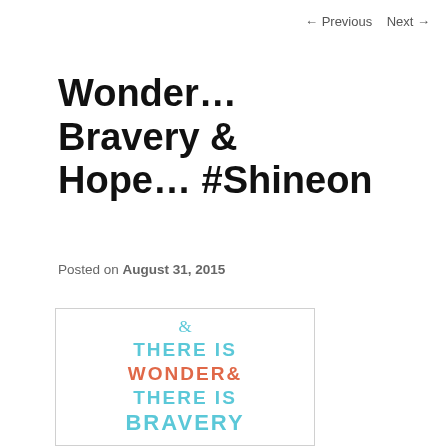← Previous   Next →
Wonder… Bravery & Hope… #Shineon
Posted on August 31, 2015
[Figure (illustration): Decorative text illustration with colorful hand-lettered words reading '& THERE IS WONDER & THERE IS BRAVERY' in teal and coral/orange colors on white background]